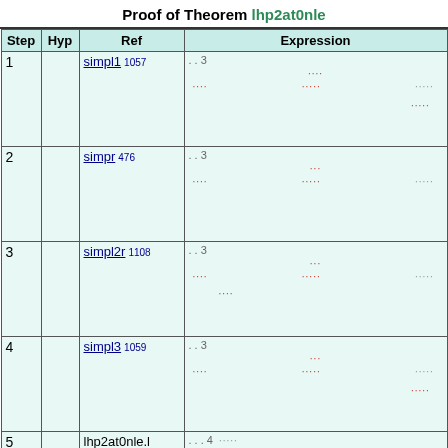Proof of Theorem lhp2at0nle
| Step | Hyp | Ref | Expression |
| --- | --- | --- | --- |
| 1 |  | simpl1 1057 | . . 3 [expression with dotted symbols] |
| 2 |  | simpr 476 | . . 3 [expression with dotted symbols] |
| 3 |  | simpl2r 1108 | . . 3 [expression with dotted symbols] |
| 4 |  | simpl3 1059 | . . 3 [expression with dotted symbols] |
| 5 |  | lhp2at0nle.l | . . . 4 [expression] |
| 6 |  | lhp2at0nle.j | . . . 4 [expression] |
| 7 |  | lhp2at0nle... |  |